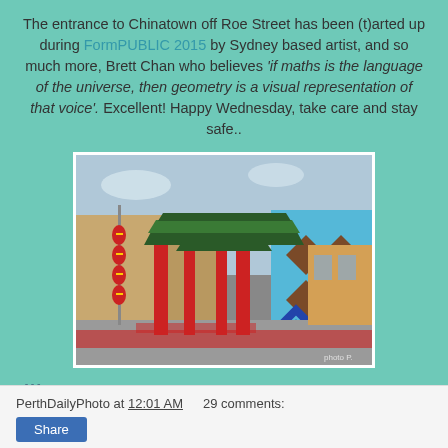The entrance to Chinatown off Roe Street has been (t)arted up during FormPUBLIC 2015 by Sydney based artist, and so much more, Brett Chan who believes 'if maths is the language of the universe, then geometry is a visual representation of that voice'. Excellent! Happy Wednesday, take care and stay safe..
[Figure (photo): A photo of the Chinatown entrance gate off Roe Street, Perth. The gate has a traditional Chinese architectural style with red pillars and green tiled roofs. To the right is a building wall decorated with a geometric mural in blue and brown/chocolate colors with diamond and chevron patterns. Red lanterns hang on a pole to the left. The street has red painted road markings.]
///
PerthDailyPhoto at 12:01 AM    29 comments:
Share